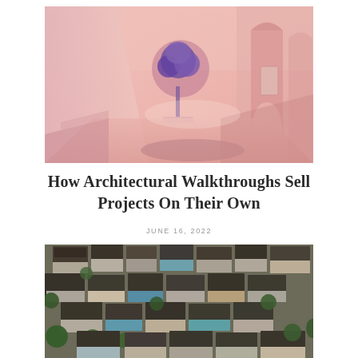[Figure (illustration): 3D rendering of a pink-toned interior space with arched alcoves, a purple tree in a circular niche, and geometric stairs]
How Architectural Walkthroughs Sell Projects On Their Own
JUNE 16, 2022
[Figure (photo): Aerial photograph of a dense residential neighborhood with rows of houses with dark roofs, colorful exteriors, and palm trees]